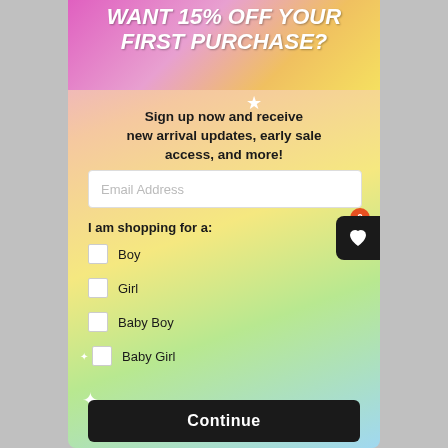WANT 15% OFF YOUR FIRST PURCHASE?
Sign up now and receive new arrival updates, early sale access, and more!
I am shopping for a:
Boy
Girl
Baby Boy
Baby Girl
Continue